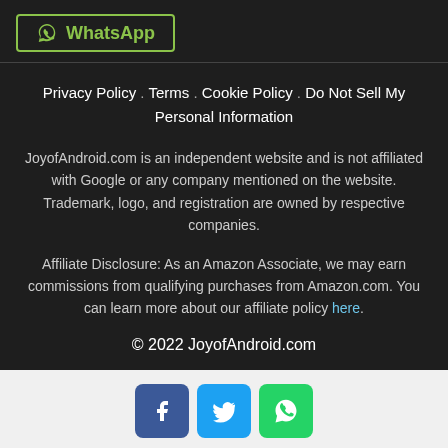[Figure (logo): WhatsApp button with green border and WhatsApp icon]
Privacy Policy . Terms . Cookie Policy . Do Not Sell My Personal Information
JoyofAndroid.com is an independent website and is not affiliated with Google or any company mentioned on the website. Trademark, logo, and registration are owned by respective companies.
Affiliate Disclosure: As an Amazon Associate, we may earn commissions from qualifying purchases from Amazon.com. You can learn more about our affiliate policy here.
© 2022 JoyofAndroid.com
[Figure (logo): Social media icons: Facebook (blue), Twitter (light blue), WhatsApp (green)]